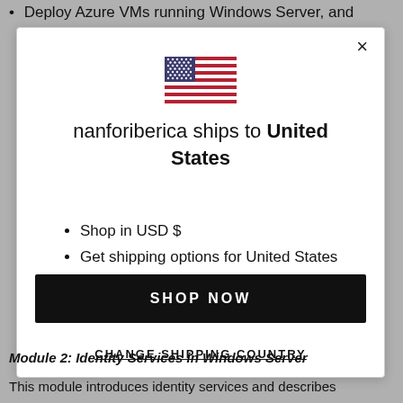Deploy Azure VMs running Windows Server, and
[Figure (screenshot): A modal dialog showing a US flag and shipping information for United States with a black 'SHOP NOW' button and a 'CHANGE SHIPPING COUNTRY' link]
Module 2: Identity Services in Windows Server
This module introduces identity services and describes